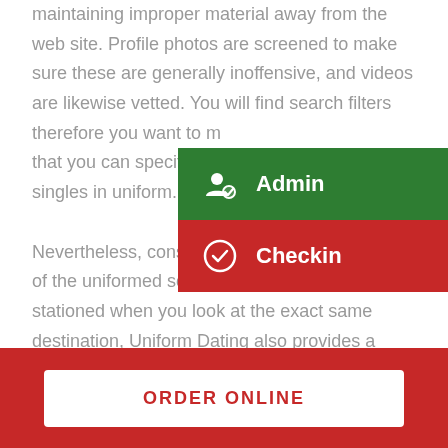maintaining improper material away from the web site. Profile photos are screened to make sure these are generally inoffensive, and videos are likewise vetted. You will find search filters therefore you want to meet that you can specify the types of singles in uniform.

Nevertheless, considering that most of the users of the uniformed solutions aren't constantly stationed when you look at the exact same destination, Uniform Dating also provides a mobile form of your
[Figure (screenshot): Dropdown menu with two options: 'Admin' (green background with person-checkmark icon) and 'Checkin' (red background with circle-checkmark icon)]
ORDER ONLINE